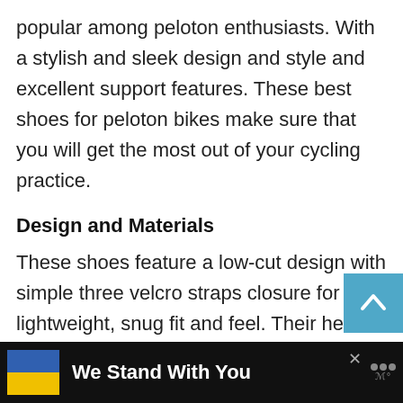popular among peloton enthusiasts. With a stylish and sleek design and style and excellent support features. These best shoes for peloton bikes make sure that you will get the most out of your cycling practice.
Design and Materials
These shoes feature a low-cut design with simple three velcro straps closure for a lightweight, snug fit and feel. Their heel design resembles that of a running shoe, and the forefoot is quite flexible. The uppers
[Figure (other): Blue scroll-to-top arrow button (square, light blue background) in the upper right area]
[Figure (other): Round light blue heart/favorite button on right side]
[Figure (other): Round light blue share button on right side]
We Stand With You (advertisement banner with Ukrainian flag colors at the bottom, with a close X button and a logo)